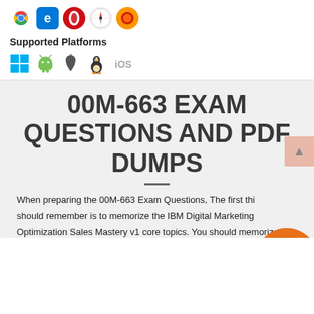[Figure (infographic): Browser icons: Chrome, Edge, Opera, Safari, Firefox]
Supported Platforms
[Figure (infographic): Platform icons: Windows, Android, Apple, Linux, iOS]
00M-663 EXAM QUESTIONS AND PDF DUMPS
When preparing the 00M-663 Exam Questions, The first thing you should remember is to memorize the IBM Digital Marketing Optimization Sales Mastery v1 core topics. You should memorize 00M-